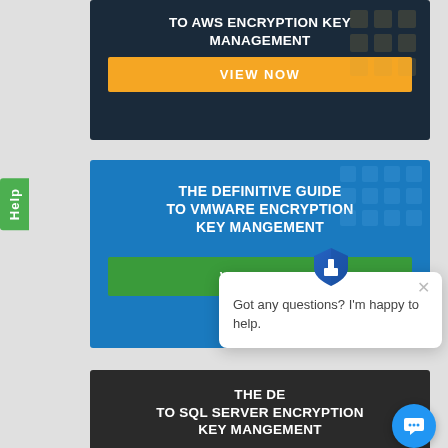[Figure (screenshot): Dark navy banner card for 'The Definitive Guide to AWS Encryption Key Management' with orange VIEW NOW button]
[Figure (screenshot): Blue banner card for 'The Definitive Guide to VMware Encryption Key Mangement' with green VIEW NOW button]
[Figure (screenshot): Dark banner card for 'The Definitive Guide to SQL Server Encryption Key Mangement' with purple VIEW NOW button, partially overlaid by chat popup]
Got any questions? I'm happy to help.